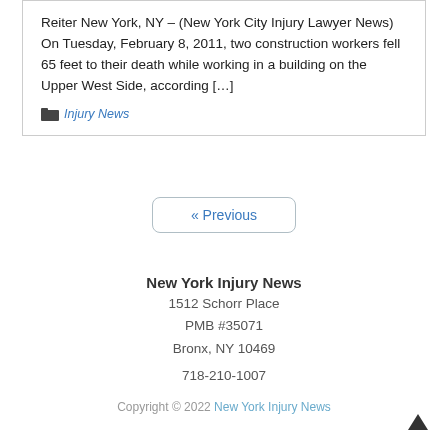Reiter New York, NY – (New York City Injury Lawyer News) On Tuesday, February 8, 2011, two construction workers fell 65 feet to their death while working in a building on the Upper West Side, according […]
Injury News
« Previous
New York Injury News
1512 Schorr Place
PMB #35071
Bronx, NY 10469

718-210-1007
Copyright © 2022 New York Injury News